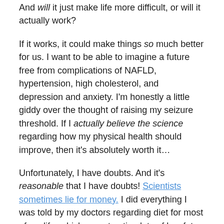And will it just make life more difficult, or will it actually work?
If it works, it could make things so much better for us. I want to be able to imagine a future free from complications of NAFLD, hypertension, high cholesterol, and depression and anxiety. I'm honestly a little giddy over the thought of raising my seizure threshold. If I actually believe the science regarding how my physical health should improve, then it's absolutely worth it…
Unfortunately, I have doubts. And it's reasonable that I have doubts! Scientists sometimes lie for money. I did everything I was told by my doctors regarding diet for most of my life, which meant eating lots of low-fat, high complex carb food, which has, in part, led to the health that I am currently experiencing.